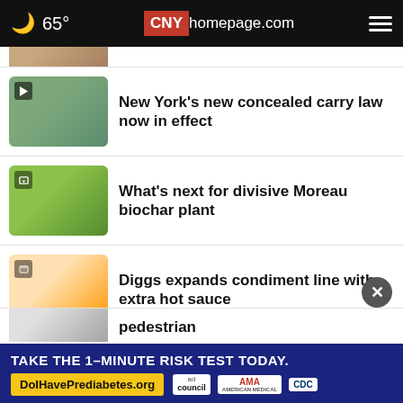65° CNYhomepage.com
New York's new concealed carry law now in effect
What's next for divisive Moreau biochar plant
Diggs expands condiment line with extra hot sauce
DOT launches Airline Customer Service Dashboard
Inflation Reduction Act to offer home energy rebates
pedestrian
TAKE THE 1-MINUTE RISK TEST TODAY. DolHavePrediabetes.org